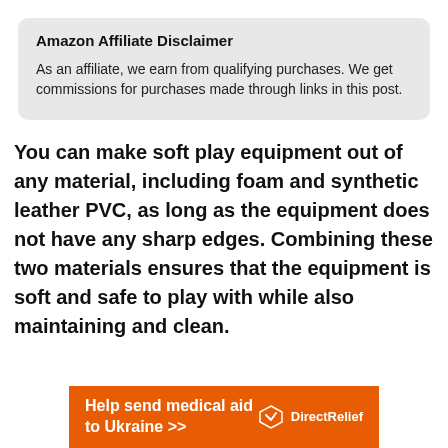Amazon Affiliate Disclaimer
As an affiliate, we earn from qualifying purchases. We get commissions for purchases made through links in this post.
You can make soft play equipment out of any material, including foam and synthetic leather PVC, as long as the equipment does not have any sharp edges. Combining these two materials ensures that the equipment is soft and safe to play with while also maintaining and clean.
[Figure (other): DirectRelief orange banner ad: Help send medical aid to Ukraine >> with DirectRelief logo]